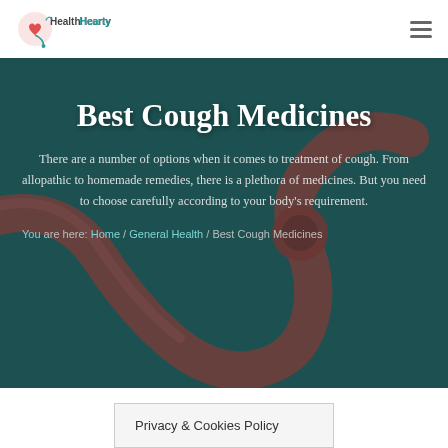HealthHearty
Best Cough Medicines
There are a number of options when it comes to treatment of cough. From allopathic to homemade remedies, there is a plethora of medicines. But you need to choose carefully according to your body's requirement.
You are here: Home / General Health / Best Cough Medicines
Privacy & Cookies Policy